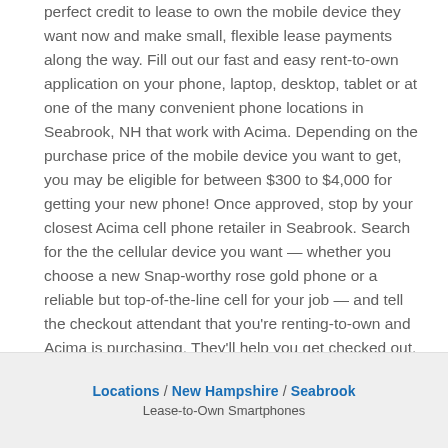perfect credit to lease to own the mobile device they want now and make small, flexible lease payments along the way. Fill out our fast and easy rent-to-own application on your phone, laptop, desktop, tablet or at one of the many convenient phone locations in Seabrook, NH that work with Acima. Depending on the purchase price of the mobile device you want to get, you may be eligible for between $300 to $4,000 for getting your new phone! Once approved, stop by your closest Acima cell phone retailer in Seabrook. Search for the the cellular device you want — whether you choose a new Snap-worthy rose gold phone or a reliable but top-of-the-line cell for your job — and tell the checkout attendant that you're renting-to-own and Acima is purchasing. They'll help you get checked out, and before you know it, you and your brand-new rent-to-buy cell phone will be tagging, DM'ing and sharing!
Locations / New Hampshire / Seabrook
Lease-to-Own Smartphones